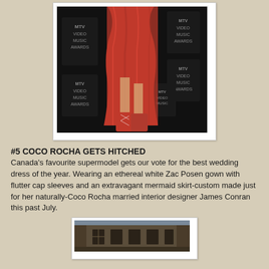[Figure (photo): Person wearing a meat dress and meat shoes at MTV Video Music Awards event, shown from mid-torso down. MTV Video Music Awards banners visible in background.]
#5 COCO ROCHA GETS HITCHED
Canada's favourite supermodel gets our vote for the best wedding dress of the year. Wearing an ethereal white Zac Posen gown with flutter cap sleeves and an extravagant mermaid skirt-custom made just for her naturally-Coco Rocha married interior designer James Conran this past July.
[Figure (photo): Outdoor architectural photograph, appears to show a building exterior in a European or urban setting.]